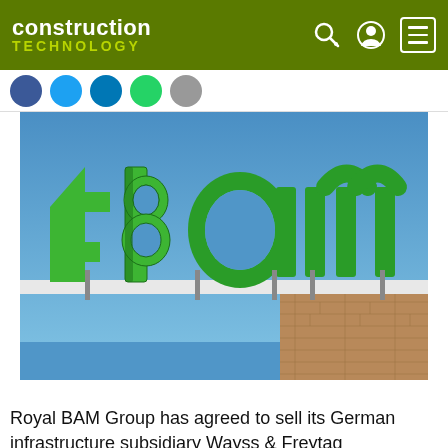construction TECHNOLOGY
[Figure (photo): Photograph of a building rooftop showing large green 3D letters spelling 'bam' with a stylized green icon to the left, set against a blue sky. The building facade shows brick cladding below.]
Royal BAM Group has agreed to sell its German infrastructure subsidiary Wayss & Freytag Ingenieurbau